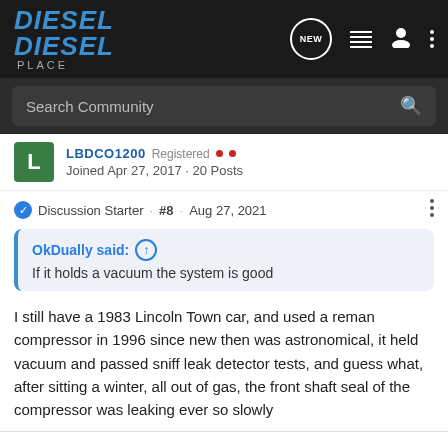Diesel Place - Navigation header with logo, NEW, list, user, and menu icons
Search Community
LBDCO1200  Registered  · Joined Apr 27, 2017 · 20 Posts
Discussion Starter · #8 · Aug 27, 2021
OkDually said: ↑
If it holds a vacuum the system is good
I still have a 1983 Lincoln Town car, and used a reman compressor in 1996 since new then was astronomical, it held vacuum and passed sniff leak detector tests, and guess what, after sitting a winter, all out of gas, the front shaft seal of the compressor was leaking ever so slowly